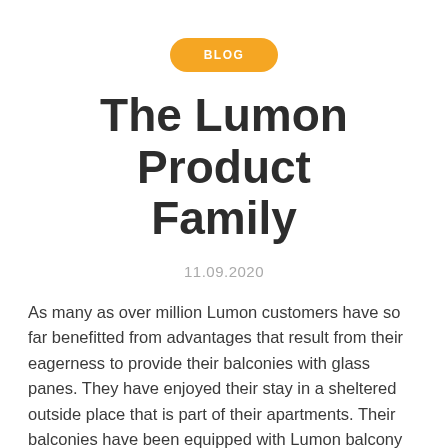BLOG
The Lumon Product Family
11.09.2020
As many as over million Lumon customers have so far benefitted from advantages that result from their eagerness to provide their balconies with glass panes. They have enjoyed their stay in a sheltered outside place that is part of their apartments. Their balconies have been equipped with Lumon balcony glazing solutions, and they probably have Lumon glass balustrades, as well. They are contemplating buying blinds for the glass panes or balustrades, or have